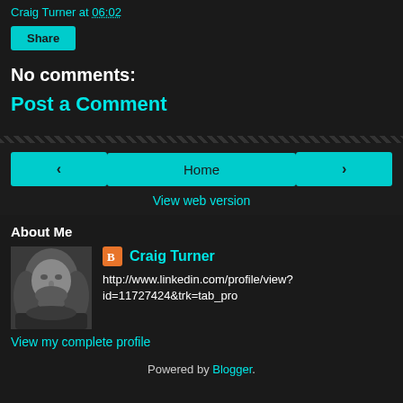Craig Turner at 06:02
Share
No comments:
Post a Comment
< Home >
View web version
About Me
[Figure (photo): Black and white headshot of Craig Turner, a man with long hair and beard]
Craig Turner
http://www.linkedin.com/profile/view?id=11727424&trk=tab_pro
View my complete profile
Powered by Blogger.